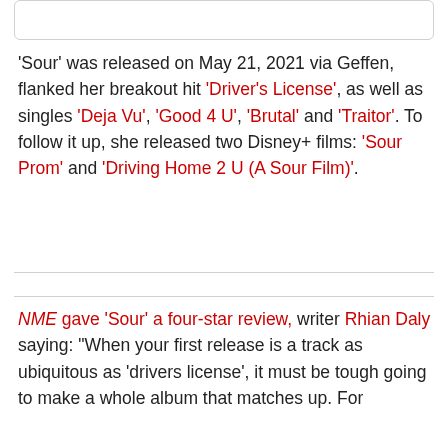'Sour' was released on May 21, 2021 via Geffen, flanked her breakout hit 'Driver's License', as well as singles 'Deja Vu', 'Good 4 U', 'Brutal' and 'Traitor'. To follow it up, she released two Disney+ films: 'Sour Prom' and 'Driving Home 2 U (A Sour Film)'.
NME gave 'Sour' a four-star review, writer Rhian Daly saying: "When your first release is a track as ubiquitous as 'drivers license', it must be tough going to make a whole album that matches up. For